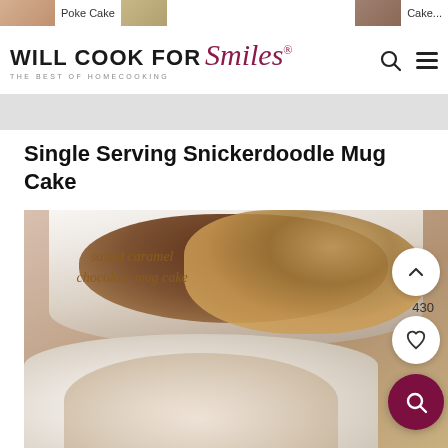Poke Cake | Cake...
[Figure (screenshot): Will Cook For Smiles website header logo with search and menu icons]
Single Serving Snickerdoodle Mug Cake
[Figure (photo): Photo of mug cake with text overlay reading 'salted caramel chocolate mug cake', showing two white mugs with cake, with UI buttons (up arrow, heart, search) overlaid at right side, and count '430']